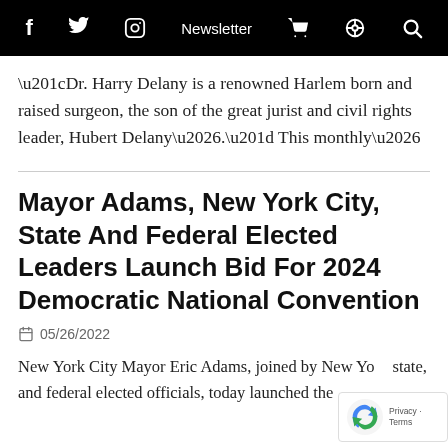f  Twitter  Instagram  Newsletter  Cart  Podcast  Search
“Dr. Harry Delany is a renowned Harlem born and raised surgeon, the son of the great jurist and civil rights leader, Hubert Delany….” This monthly…
Mayor Adams, New York City, State And Federal Elected Leaders Launch Bid For 2024 Democratic National Convention
05/26/2022
New York City Mayor Eric Adams, joined by New York state, and federal elected officials, today launched the City’s